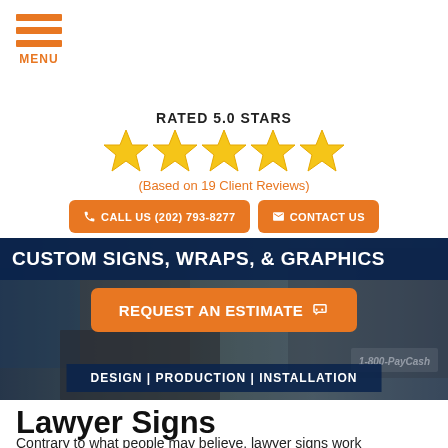[Figure (illustration): Orange hamburger menu icon with three horizontal bars and MENU label below]
RATED 5.0 STARS
[Figure (illustration): Five gold/yellow star rating icons in a row]
(Based on 19 Client Reviews)
CALL US (202) 793-8277
CONTACT US
[Figure (photo): Background hero image showing commercial signage including Starbucks Coffee storefront and 1-800-PayCash vehicle wrap, with dark overlay]
CUSTOM SIGNS, WRAPS, & GRAPHICS
REQUEST AN ESTIMATE
DESIGN | PRODUCTION | INSTALLATION
Lawyer Signs
Contrary to what people may believe, lawyer signs work